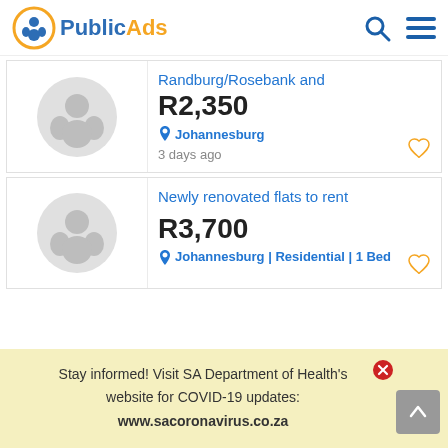PublicAds
Randburg/Rosebank and
R2,350
Johannesburg
3 days ago
Newly renovated flats to rent
R3,700
Johannesburg | Residential | 1 Bed
Stay informed! Visit SA Department of Health's website for COVID-19 updates: www.sacoronavirus.co.za